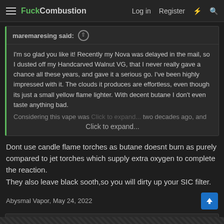FuckCombustion — Log in Register
maremaresing said:
I'm so glad you like it! Recently my Nova was delayed in the mail, so I dusted off my Handcarved Walnut VG, that I never really gave a chance all these years, and gave it a serious go. I've been highly impressed with it. The clouds it produces are effortless, even though its just a small yellow flame lighter. With decent butane I don't even taste anything bad.
Considering this vape was...two decades ago, and...
Click to expand...
Dont use candle flame torches as butane doesnt burn as purely compared to jet torches which supply extra oxygen to complete the reaction.
They also leave black sooth,so you will dirty up your SIC filter.
Abysmal Vapor, May 24, 2022
coolbreeze and GoldenBud